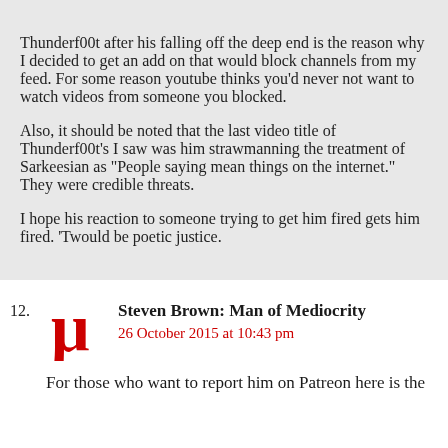Thunderf00t after his falling off the deep end is the reason why I decided to get an add on that would block channels from my feed. For some reason youtube thinks you’d never not want to watch videos from someone you blocked.

Also, it should be noted that the last video title of Thunderf00t’s I saw was him strawmanning the treatment of Sarkeesian as “People saying mean things on the internet.” They were credible threats.

I hope his reaction to someone trying to get him fired gets him fired. ‘Twould be poetic justice.
12. Steven Brown: Man of Mediocrity
26 October 2015 at 10:43 pm
For those who want to report him on Patreon here is the